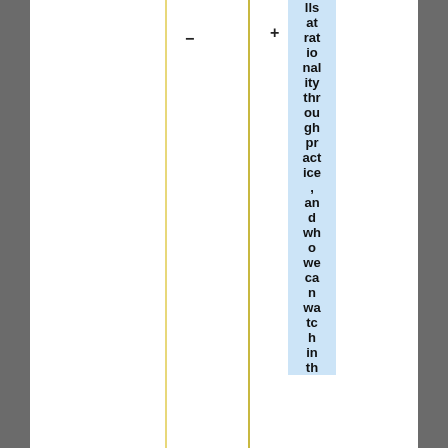skills at rationality throughout practice, and who we can watch in th